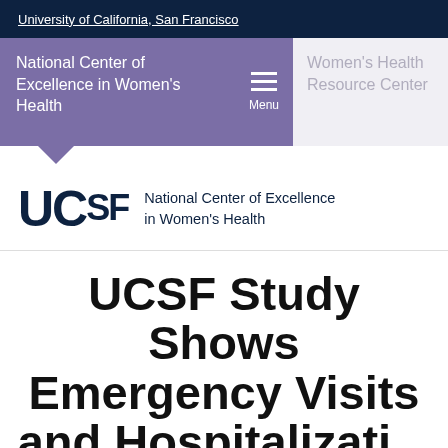University of California, San Francisco
National Center of Excellence in Women's Health
Menu
Women's Health Resource Center
[Figure (logo): UCSF National Center of Excellence in Women's Health logo with UCSF text and full organization name]
UCSF Study Shows Emergency Visits and Hospitaliza...